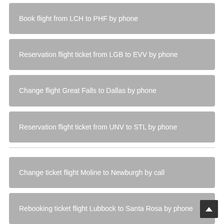Book flight from LCH to PHF by phone
Reservation flight ticket from LGB to EVV by phone
Change flight Great Falls to Dallas by phone
Reservation flight ticket from UNV to STL by phone
Change ticket flight Moline to Newburgh by call
Rebooking ticket flight Lubbock to Santa Rosa by phone
Cancel ticket flight Boca Raton to Little Rock by phone